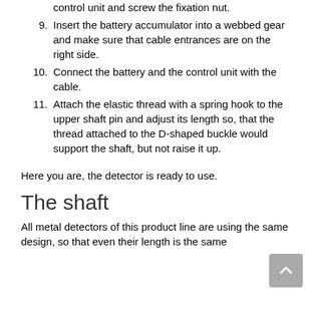control unit and screw the fixation nut.
9. Insert the battery accumulator into a webbed gear and make sure that cable entrances are on the right side.
10. Connect the battery and the control unit with the cable.
11. Attach the elastic thread with a spring hook to the upper shaft pin and adjust its length so, that the thread attached to the D-shaped buckle would support the shaft, but not raise it up.
Here you are, the detector is ready to use.
The shaft
All metal detectors of this product line are using the same design, so that even their length is the same